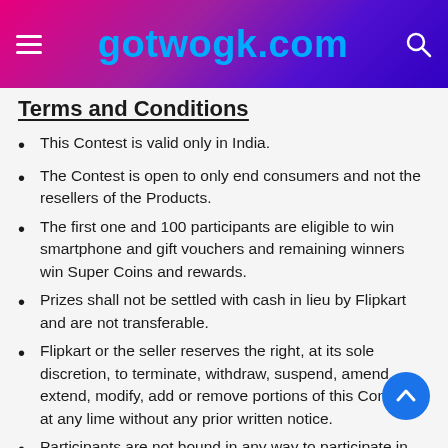gotwogk.com
Terms and Conditions
This Contest is valid only in India.
The Contest is open to only end consumers and not the resellers of the Products.
The first one and 100 participants are eligible to win smartphone and gift vouchers and remaining winners win Super Coins and rewards.
Prizes shall not be settled with cash in lieu by Flipkart and are not transferable.
Flipkart or the seller reserves the right, at its sole discretion, to terminate, withdraw, suspend, amend, extend, modify, add or remove portions of this Contest, at any lime without any prior written notice.
Participants are not bound in any way to participate in this Contest. Any participation is voluntary, and the